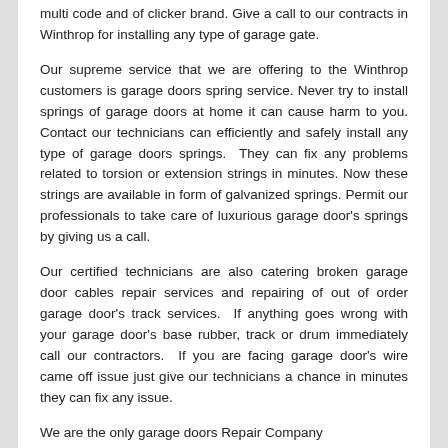multi code and of clicker brand. Give a call to our contracts in Winthrop for installing any type of garage gate.
Our supreme service that we are offering to the Winthrop customers is garage doors spring service. Never try to install springs of garage doors at home it can cause harm to you. Contact our technicians can efficiently and safely install any type of garage doors springs.  They can fix any problems related to torsion or extension strings in minutes. Now these strings are available in form of galvanized springs. Permit our professionals to take care of luxurious garage door's springs by giving us a call.
Our certified technicians are also catering broken garage door cables repair services and repairing of out of order garage door's track services.  If anything goes wrong with your garage door's base rubber, track or drum immediately call our contractors.  If you are facing garage door's wire came off issue just give our technicians a chance in minutes they can fix any issue.
We are the only garage doors Repair Company in Winthrop that tak...